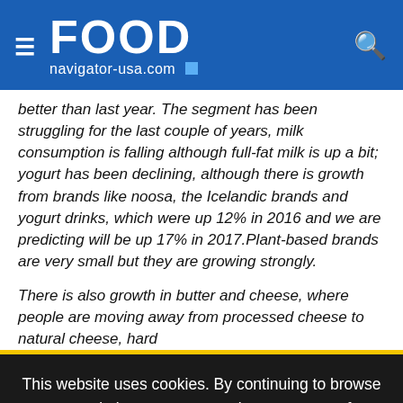FOOD navigator-usa.com
better than last year. The segment has been struggling for the last couple of years, milk consumption is falling although full-fat milk is up a bit; yogurt has been declining, although there is growth from brands like noosa, the Icelandic brands and yogurt drinks, which were up 12% in 2016 and we are predicting will be up 17% in 2017.Plant-based brands are very small but they are growing strongly.
There is also growth in butter and cheese, where people are moving away from processed cheese to natural cheese, hard
This website uses cookies. By continuing to browse our website, you are agreeing to our use of cookies. You can learn more about cookies by visiting our privacy & cookies policy page.
I Agree